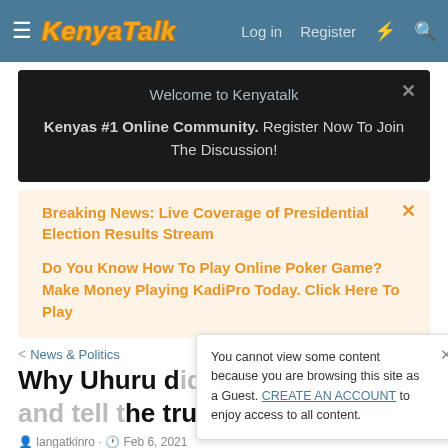KenyaTalk — Log in  Register
Welcome to Kenyatalk
Kenyas #1 Online Community. Register Now To Join The Discussion!
Breaking News: Live Coverage of Presidential Election Results Stream
Do You Know How To Play Online Poker Game? Make Money Playing KadiPro Today. Click Here To Play
News & Politics
Why Uhuru did change/shake and tell the truth finally revealed
You cannot view some content because you are browsing this site as a Guest. CREATE AN ACCOUNT to enjoy access to all content.
langatkinro · Feb 6, 2021